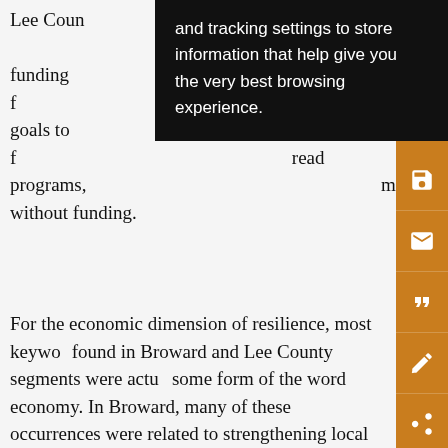Lee County … and tracking settings to store … ized funding fo … information that help give you … tional goals to f … the very best browsing … read programs. … experience. … men without funding.
For the economic dimension of resilience, most keywords found in Broward and Lee County segments were actually some form of the word economy. In Broward, many of these occurrences were related to strengthening local economies through green jobs, economic growth, and “green collar” training programs. Additionally, these terms appear in many statements about enhancing sustainability by mitigating potential economic, environmental, and social impacts of climate change, acknowledging the “triple bottom line” of sustainability. Similarly, Lee County emphasized the connectedness of